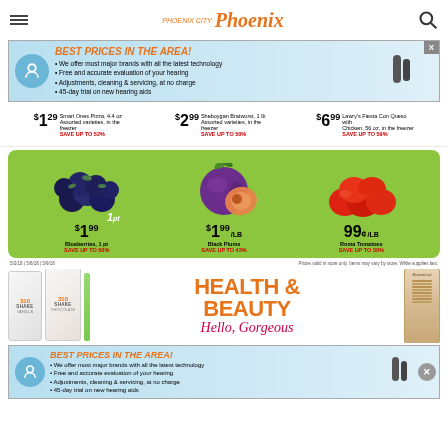Phoenix — navigation header with hamburger menu and search icon
[Figure (infographic): Advertisement banner: BEST PRICES IN THE AREA! hearing aid ad with bullet points and X close button]
$1.29 Smart Ones Pizza, 4.4 oz Assorted varieties, in the freezer SAVE UP TO 52%
$2.99 Sheboygan Bratwurst, 1 lb Assorted varieties, in the freezer SAVE UP TO 50%
$6.99 Lawry's Fiesta Con Queso with Chicken, 56 oz, in the freezer SAVE UP TO 59%
[Figure (infographic): Green produce banner showing blueberries 1pt $1.99, black plums $1.99/lb SAVE UP TO 43%, Roma tomatoes 99¢/lb SAVE UP TO 50%]
Prices valid in store only. Items may vary by store. While supplies last.
[Figure (infographic): Health & Beauty section with 310 Shake protein powder bags on left, Botanical beauty product on right, text: HEALTH & BEAUTY Hello, Gorgeous]
[Figure (infographic): Advertisement banner bottom: BEST PRICES IN THE AREA! hearing aid ad with bullet points and circle X close button]